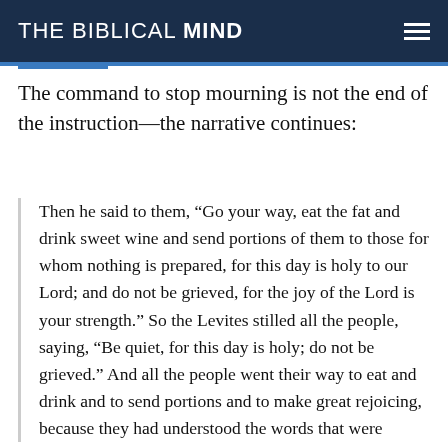THE BIBLICAL MIND
The command to stop mourning is not the end of the instruction—the narrative continues:
Then he said to them, “Go your way, eat the fat and drink sweet wine and send portions of them to those for whom nothing is prepared, for this day is holy to our Lord; and do not be grieved, for the joy of the Lord is your strength.” So the Levites stilled all the people, saying, “Be quiet, for this day is holy; do not be grieved.” And all the people went their way to eat and drink and to send portions and to make great rejoicing, because they had understood the words that were declared to them. (Neh. 8:10–12)